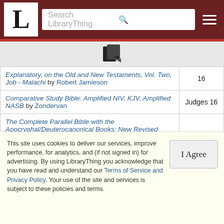LibraryThing — Search LibraryThing
| Book | Ref |
| --- | --- |
| Explanatory, on the Old and New Testaments, Vol. Two, Job - Malachi by Robert Jamieson | 16 |
| Comparative Study Bible: Amplified NIV, KJV, Amplified NASB by Zondervan | Judges 16 |
| The Complete Parallel Bible with the Apocryphal/Deuterocanonical Books: New Revised Standard Version, Revised English Bible, New American Bible, New Jerusalem Bible by Publisher Oxford University Press | Judges 16 |
This site uses cookies to deliver our services, improve performance, for analytics, and (if not signed in) for advertising. By using LibraryThing you acknowledge that you have read and understand our Terms of Service and Privacy Policy. Your use of the site and services is subject to these policies and terms.